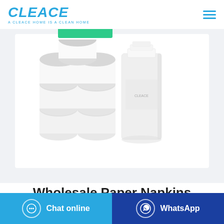[Figure (logo): CLEACE logo in blue italic bold font with tagline 'A CLEACE HOME IS A CLEAN HOME' below]
[Figure (photo): Stacked toilet paper rolls and packaged tissue product on white background]
Wholesale Paper Napkins
Chat online
WhatsApp